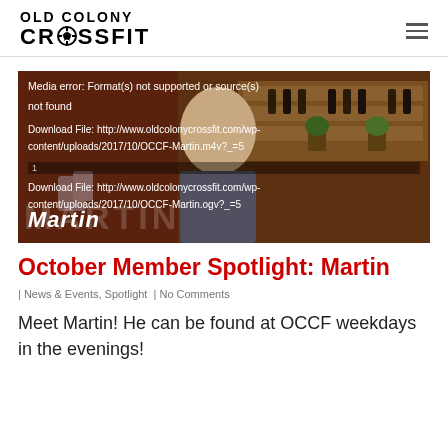OLD COLONY CROSSFIT
[Figure (screenshot): Video player showing a man sitting in a cafe/bar setting with a media error message overlay reading: 'Media error: Format(s) not supported or source(s) not found. Download File: http://www.oldcolonycrossfit.com/wp-content/uploads/2017/10/OCCF-Martin.m4v?_=5. Download File: http://www.oldcolonycrossfit.com/wp-content/uploads/2017/10/OCCF-Martin.ogv?_=5'. The name Martin appears as a watermark.]
October Member Spotlight: Martin
| News & Events, Spotlight | No Comments
Meet Martin! He can be found at OCCF weekdays in the evenings!